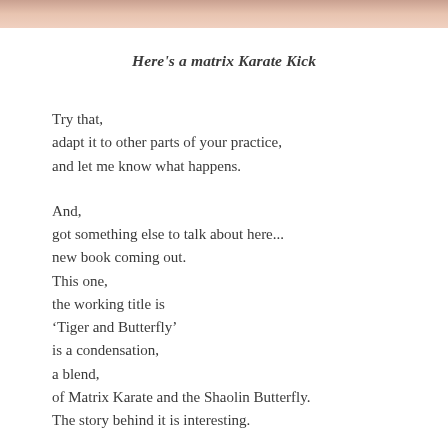[Figure (photo): Partial photo strip at top of page, showing skin tones in pinkish-brown gradient.]
Here's a matrix Karate Kick
Try that,
adapt it to other parts of your practice,
and let me know what happens.

And,
got something else to talk about here...
new book coming out.
This one,
the working title is
‘Tiger and Butterfly’
is a condensation,
a blend,
of Matrix Karate and the Shaolin Butterfly.
The story behind it is interesting.